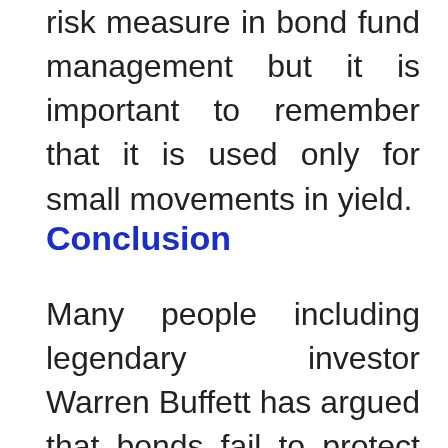risk measure in bond fund management but it is important to remember that it is used only for small movements in yield.
Conclusion
Many people including legendary investor Warren Buffett has argued that bonds fail to protect investors' purchasing power. When taxes and inflation are subtracted from bond returns